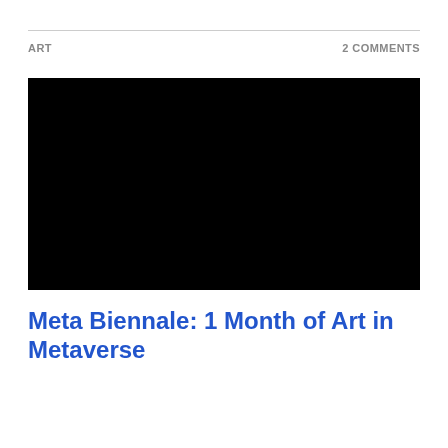ART
2 COMMENTS
[Figure (photo): A large black rectangle representing an image placeholder or video thumbnail — completely black, no visible content.]
Meta Biennale: 1 Month of Art in Metaverse